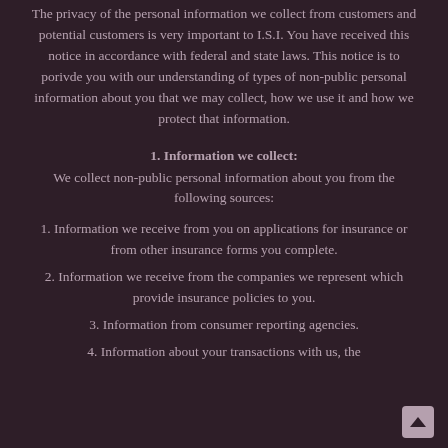The privacy of the personal information we collect from customers and potential customers is very important to I.S.I. You have received this notice in accordance with federal and state laws. This notice is to porivde you with our understanding of types of non-public personal information about you that we may collect, how we use it and how we protect that information.
1. Information we collect:
We collect non-public personal information about you from the following sources:
1. Information we receive from you on applications for insurance or from other insurance forms you complete.
2. Information we receive from the companies we represent which provide insurance policies to you.
3. Information from consumer reporting agencies.
4. Information about your transactions with us, the